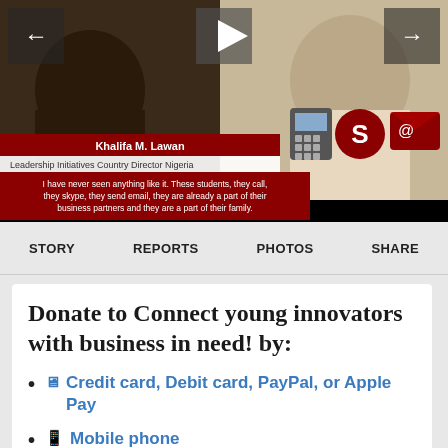[Figure (screenshot): Video player screenshot showing two people; overlay text: 'Khalifa M. Lawan / Leadership Initiatives Country Director Nigeria' and quote 'I have never seen anything like it. These students, they call, they skype, they send email, they are already a part of their business partners and they are a part of their family.' Navigation arrows left and right, play button center top, phone/Skype/email icons on right side.]
STORY   REPORTS   PHOTOS   SHARE
Donate to Connect young innovators with business in need! by:
Credit card, Debit card, PayPal, or Apple Pay
Mobile phone
M-Pesa